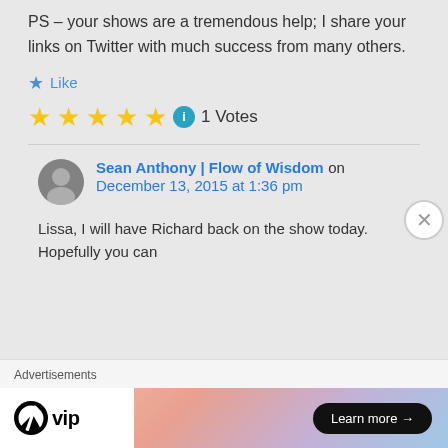PS – your shows are a tremendous help; I share your links on Twitter with much success from many others.
Like
★★★★★ 1 Votes
Sean Anthony | Flow of Wisdom on December 13, 2015 at 1:36 pm
Lissa, I will have Richard back on the show today. Hopefully you can
Advertisements
[Figure (logo): WordPress VIP logo with Learn more button on gradient background advertisement banner]